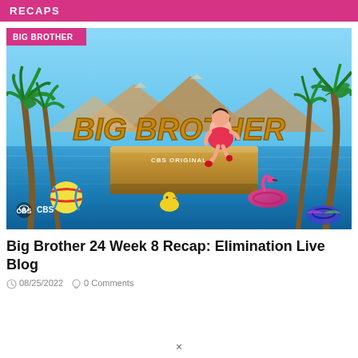RECAPS
[Figure (photo): Big Brother Season 24 CBS promotional image showing host sitting on top of the Big Brother logo block/pedestal surrounded by palm trees, pool water, beach ball, flamingo float, and rubber duck, with CBS logo in bottom left]
Big Brother 24 Week 8 Recap: Elimination Live Blog
08/25/2022   0 Comments